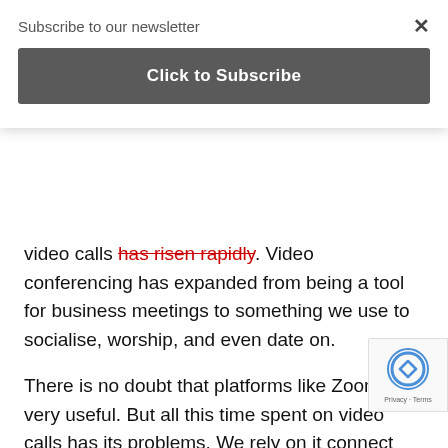Subscribe to our newsletter
Click to Subscribe
video calls has risen rapidly. Video conferencing has expanded from being a tool for business meetings to something we use to socialise, worship, and even date on.
There is no doubt that platforms like Zoom are very useful. But all this time spent on video calls has its problems. We rely on it connect with people, yet it can leave us feeling tired and empty. It has given us some semblance of normal life during lockdown, but it can make relationships seem unreal. This feeling has spurred talk of a new psychological affliction: "Zoom fatigu
When we interact with another person through the screen,